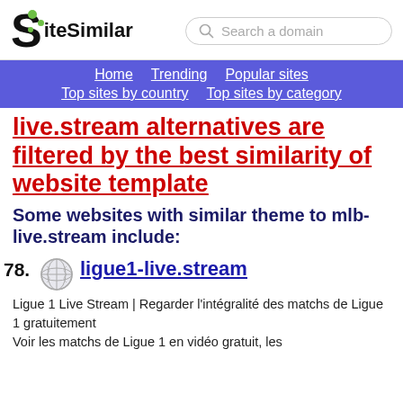SiteSimilar — Search a domain
Home | Trending | Popular sites | Top sites by country | Top sites by category
live.stream alternatives are filtered by the best similarity of website template
Some websites with similar theme to mlb-live.stream include:
78. ligue1-live.stream — Ligue 1 Live Stream | Regarder l'intégralité des matchs de Ligue 1 gratuitement
Voir les matchs de Ligue 1 en vidéo gratuit, les